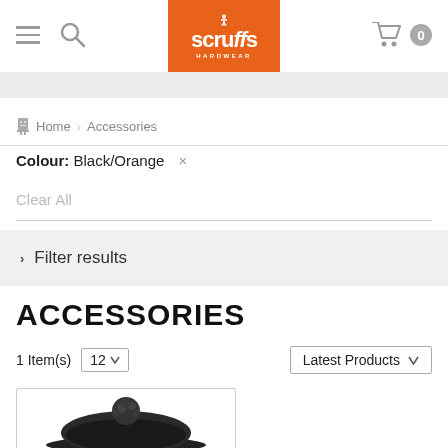Scruffs Hardwear
Home > Accessories
Colour: Black/Orange  ×
Clear All
> Filter results
ACCESSORIES
1 Item(s)  12  Latest Products